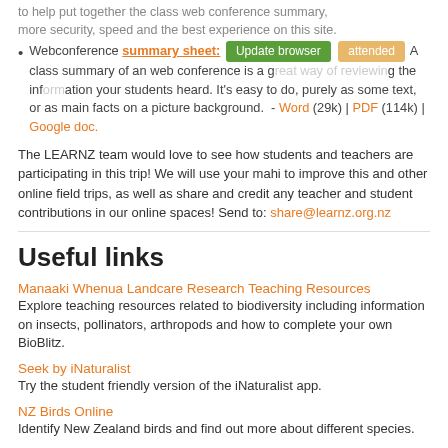to help put together the class web conference summary, more security, speed and the best experience on this site.
Webconference summary sheet: A class summary of an web conference is a great way of reviewing the information your students heard. It's easy to do, purely as some text, or as main facts on a picture background. - Word (29k) | PDF (114k) | Google doc.
The LEARNZ team would love to see how students and teachers are participating in this trip! We will use your mahi to improve this and other online field trips, as well as share and credit any teacher and student contributions in our online spaces! Send to: share@learnz.org.nz
Useful links
Manaaki Whenua Landcare Research Teaching Resources
Explore teaching resources related to biodiversity including information on insects, pollinators, arthropods and how to complete your own BioBlitz.
Seek by iNaturalist
Try the student friendly version of the iNaturalist app.
NZ Birds Online
Identify New Zealand birds and find out more about different species.
NZ Bird Atlas
Get involved in recording your own bird observations and adding to the NZ Bird Atlas.
iNaturalist NZ Mātahi Taiao